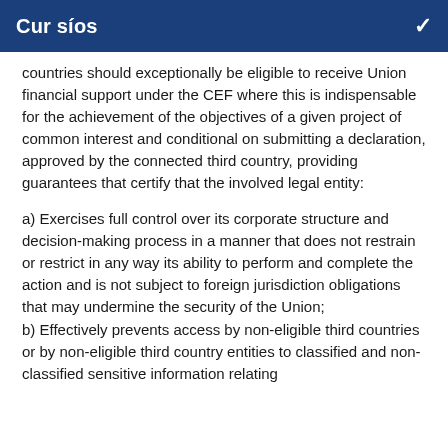Cur síos
countries should exceptionally be eligible to receive Union financial support under the CEF where this is indispensable for the achievement of the objectives of a given project of common interest and conditional on submitting a declaration, approved by the connected third country, providing guarantees that certify that the involved legal entity:
a) Exercises full control over its corporate structure and decision-making process in a manner that does not restrain or restrict in any way its ability to perform and complete the action and is not subject to foreign jurisdiction obligations that may undermine the security of the Union;
b) Effectively prevents access by non-eligible third countries or by non-eligible third country entities to classified and non-classified sensitive information relating